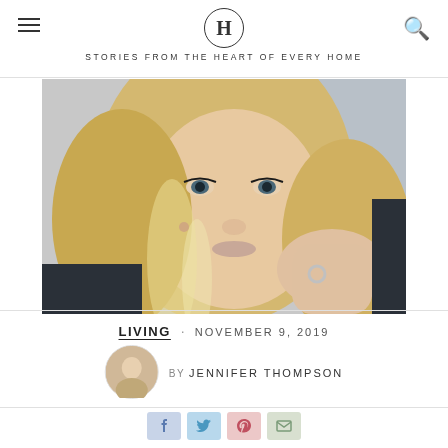H — STORIES FROM THE HEART OF EVERY HOME
[Figure (photo): Close-up selfie of a blonde woman in a car, showing her hand with a ring]
LIVING · NOVEMBER 9, 2019
BY JENNIFER THOMPSON
[Figure (other): Social sharing buttons: Facebook, Twitter, Pinterest, Email]